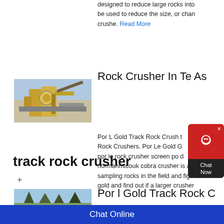designed to reduce large rocks into... be used to reduce the size, or chan... crushe. Read More
Rock Crusher In Te As
[Figure (photo): Yellow and grey industrial rock crusher machine outdoors]
Por L Gold Track Rock Crush... t Rock Crushers. Por Le Gold ... por le rock crusher screen po... normanmtcouk cobra crusher is a s... sampling rocks in the field and figur... gold and find out if a larger crusher
[Figure (other): Chat Now widget overlay with red bubble and dark bottom]
track rock crusher
+
Por l Gold Track Rock C
[Figure (photo): Trees or outdoor scene photo partially visible at bottom]
Chat Online